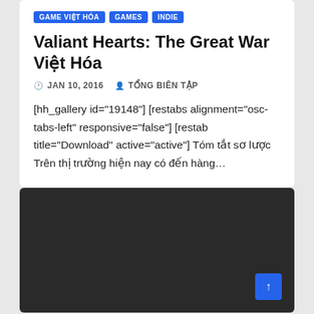GAME VIỆT HÓA
GAMES
INDIE
Valiant Hearts: The Great War Việt Hóa
JAN 10, 2016  TỔNG BIÊN TẬP
[hh_gallery id="19148"] [restabs alignment="osc-tabs-left" responsive="false"] [restab title="Download" active="active"] Tóm tắt sơ lược Trên thị trường hiện nay có đến hàng…
[Figure (photo): Dark background image area at the bottom of the page]